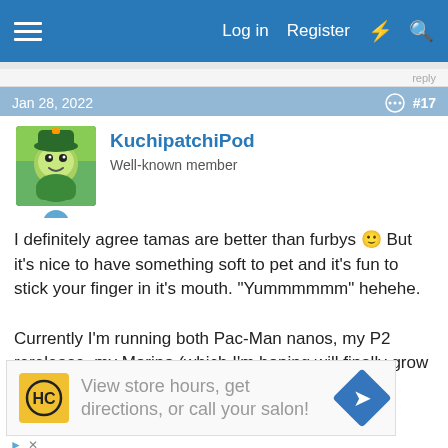Log in  Register
Jan 28, 2022  #17
KuchipatchiPod
Well-known member
I definitely agree tamas are better than furbys 🙂 But it's nice to have something soft to pet and it's fun to stick your finger in it's mouth. "Yummmmmm" hehehe.

Currently I'm running both Pac-Man nanos, my P2 rerelease, my Morino (which I'm hoping will finally grow into an adult this
[Figure (infographic): Advertisement: HC salon logo with text 'View store hours, get directions, or call your salon!' and a blue direction arrow icon]